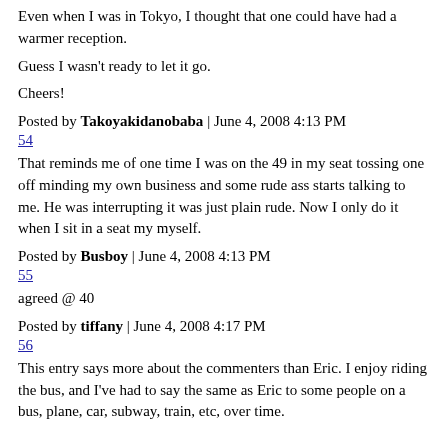Even when I was in Tokyo, I thought that one could have had a warmer reception.
Guess I wasn't ready to let it go.
Cheers!
Posted by Takoyakidanobaba | June 4, 2008 4:13 PM
54
That reminds me of one time I was on the 49 in my seat tossing one off minding my own business and some rude ass starts talking to me. He was interrupting it was just plain rude. Now I only do it when I sit in a seat my myself.
Posted by Busboy | June 4, 2008 4:13 PM
55
agreed @ 40
Posted by tiffany | June 4, 2008 4:17 PM
56
This entry says more about the commenters than Eric. I enjoy riding the bus, and I've had to say the same as Eric to some people on a bus, plane, car, subway, train, etc, over time.